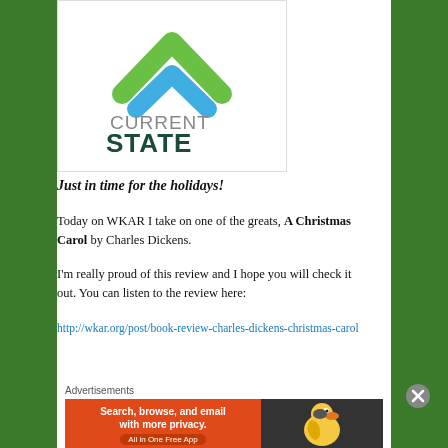[Figure (logo): Current State logo: house chevron shape in green and blue, text 'CURRENT STATE' below in dark teal]
Just in time for the holidays!
Today on WKAR I take on one of the greats, A Christmas Carol by Charles Dickens.
I'm really proud of this review and I hope you will check it out. You can listen to the review here:
http://wkar.org/post/book-review-charles-dickens-christmas-carol
Advertisements
[Figure (screenshot): DuckDuckGo advertisement banner: orange left side reads 'Search, browse, and email with more privacy. All in One Free App', dark right side shows DuckDuckGo duck logo]